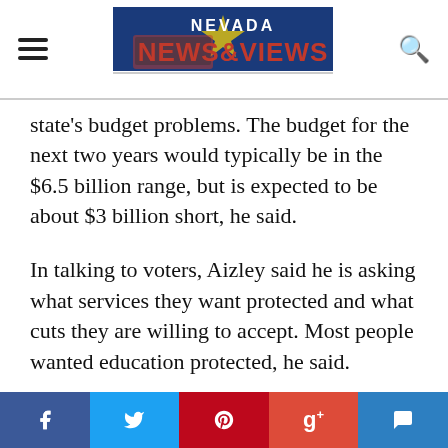Nevada News & Views
state's budget problems. The budget for the next two years would typically be in the $6.5 billion range, but is expected to be about $3 billion short, he said.
In talking to voters, Aizley said he is asking what services they want protected and what cuts they are willing to accept. Most people wanted education protected, he said.
Aizley, a member of the Assembly Taxation Committee, said he would also need details of what services would be included in an expansion of the sales tax.
“People don’t know the implications,” he said. “I would not say yes to a services tax until it was spelled out what
f      g+  ✉